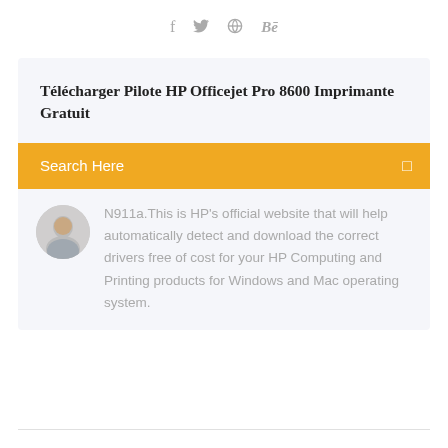f  🐦  ⊗  Bē
Télécharger Pilote HP Officejet Pro 8600 Imprimante Gratuit
Search Here
[Figure (photo): Circular avatar photo of a young man]
N911a.This is HP's official website that will help automatically detect and download the correct drivers free of cost for your HP Computing and Printing products for Windows and Mac operating system.